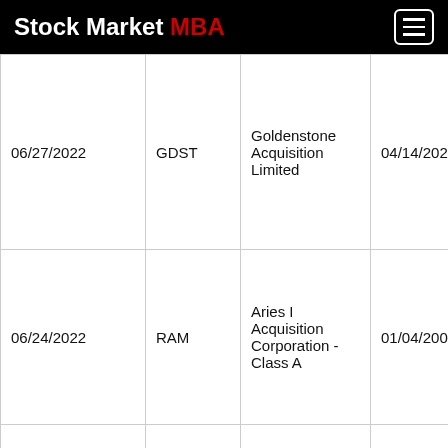Stock Market MBA
| Date | Ticker | Company Name | IPO Date |  |
| --- | --- | --- | --- | --- |
| 06/27/2022 | GDST | Goldenstone Acquisition Limited | 04/14/2022 | N |
| 06/24/2022 | RAM | Aries I Acquisition Corporation - Class A | 01/04/2000 | Y |
|  |  | SVF Investment... |  |  |